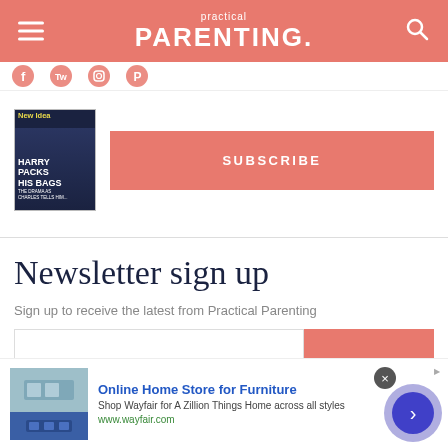practical PARENTING.
[Figure (screenshot): Partial social media icons row (Facebook, Twitter, Instagram, Pinterest) in coral color]
[Figure (screenshot): Magazine cover of New Idea: HARRY PACKS HIS BAGS with SUBSCRIBE button in coral]
Newsletter sign up
Sign up to receive the latest from Practical Parenting
[Figure (screenshot): Advertisement: Online Home Store for Furniture - Shop Wayfair for A Zillion Things Home across all styles - www.wayfair.com, with furniture image and navigation circle button]